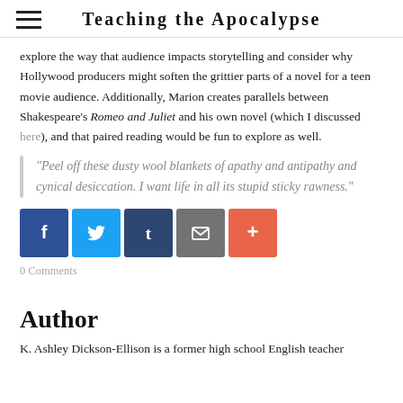Teaching the Apocalypse
explore the way that audience impacts storytelling and consider why Hollywood producers might soften the grittier parts of a novel for a teen movie audience. Additionally, Marion creates parallels between Shakespeare's Romeo and Juliet and his own novel (which I discussed here), and that paired reading would be fun to explore as well.
“Peel off these dusty wool blankets of apathy and antipathy and cynical desiccation. I want life in all its stupid sticky rawness.”
[Figure (infographic): Social share buttons: Facebook (blue), Twitter (light blue), Tumblr (dark blue), Email (grey), More (orange-red)]
0 Comments
Author
K. Ashley Dickson-Ellison is a former high school English teacher